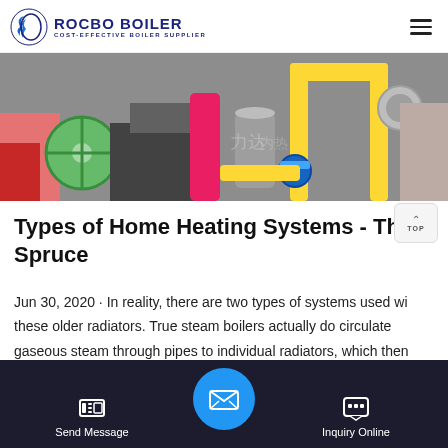ROCBO BOILER - COST-EFFECTIVE BOILER SUPPLIER
[Figure (photo): Industrial boiler equipment with yellow pipes, green circular fan, blue valves, and various industrial components in a manufacturing setting]
Types of Home Heating Systems - The Spruce
Jun 30, 2020 · In reality, there are two types of systems used with these older radiators. True steam boilers actually do circulate gaseous steam through pipes to individual radiators, which then condenses back to water and flows back to the boiler for reheatin…